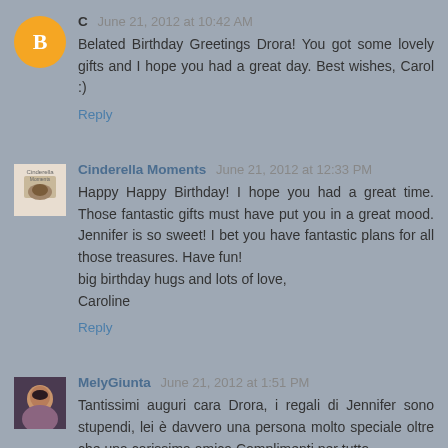C  June 21, 2012 at 10:42 AM
Belated Birthday Greetings Drora! You got some lovely gifts and I hope you had a great day. Best wishes, Carol :)
Reply
Cinderella Moments  June 21, 2012 at 12:33 PM
Happy Happy Birthday! I hope you had a great time. Those fantastic gifts must have put you in a great mood. Jennifer is so sweet! I bet you have fantastic plans for all those treasures. Have fun!
big birthday hugs and lots of love,
Caroline
Reply
MelyGiunta  June 21, 2012 at 1:51 PM
Tantissimi auguri cara Drora, i regali di Jennifer sono stupendi, lei è davvero una persona molto speciale oltre che una carissima amica Complimenti per tutto.